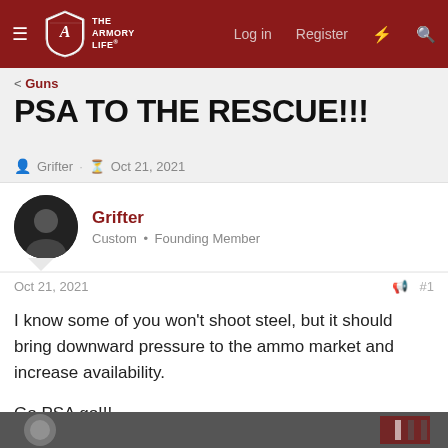THE ARMORY LIFE — Log in  Register
< Guns
PSA TO THE RESCUE!!!
Grifter · Oct 21, 2021
Grifter
Custom • Founding Member
Oct 21, 2021  #1
I know some of you won't shoot steel, but it should bring downward pressure to the ammo market and increase availability.

Go PSA go!!!